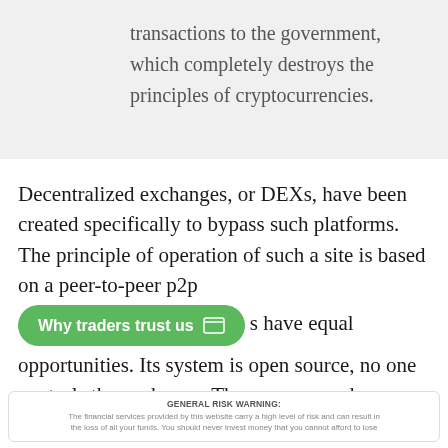transactions to the government, which completely destroys the principles of cryptocurrencies.
Decentralized exchanges, or DEXs, have been created specifically to bypass such platforms. The principle of operation of such a site is based on a peer-to-peer p2p [Why traders trust us] s have equal opportunities. Its system is open source, no one controls the exchange. The user can make transactions without intermediaries.
GENERAL RISK WARNING: The financial services provided by this website carry a high level of risk and can result in the loss of all your funds. You should never invest money that you cannot afford to lose